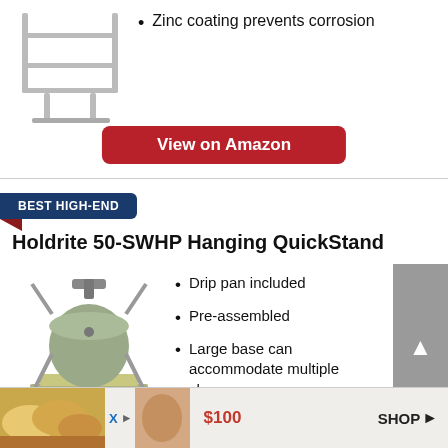[Figure (photo): Metal stand/rack product photo (top portion, cropped) showing a wire frame stand]
Zinc coating prevents corrosion
View on Amazon
BEST HIGH-END
Holdrite 50-SWHP Hanging QuickStand
[Figure (photo): Holdrite 50-SWHP Hanging QuickStand product photo showing a hanging water heater platform with straps]
Drip pan included
Pre-assembled
Large base can accommodate multiple shapes
[Figure (photo): Advertisement banner with food/bread images, $100 price, and SHOP link]